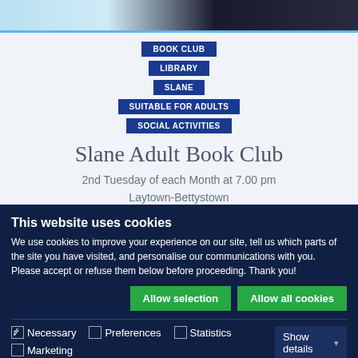[Figure (photo): Partial image strip showing a person and background, cropped at top of page]
BOOK CLUB
LIBRARY
SLANE
SUITABLE FOR ADULTS
SOCIAL ACTIVITIES
Slane Adult Book Club
2nd Tuesday of each Month at 7.00 pm
Laytown-Bettystown
This website uses cookies
We use cookies to improve your experience on our site, tell us which parts of the site you have visited, and personalise our communications with you. Please accept or refuse them below before proceeding. Thank you!
Allow selection | Allow all cookies
Necessary  Preferences  Statistics  Marketing  Show details